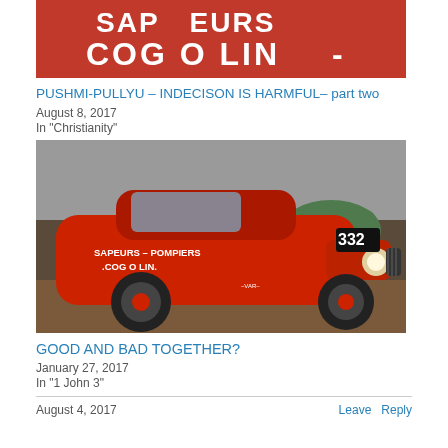[Figure (photo): Top portion of a red vehicle/sign with white text reading 'SAPEURS' and 'COG O LIN-' on a red background]
PUSHMI-PULLYU – INDECISON IS HARMFUL– part two
August 8, 2017
In "Christianity"
[Figure (photo): A red vintage Citroën 2CV fire vehicle with white text 'SAPEURS – POMPIERS COG O LIN.' and number 332, displayed in a museum or garage setting]
GOOD AND BAD TOGETHER?
January 27, 2017
In "1 John 3"
August 4, 2017